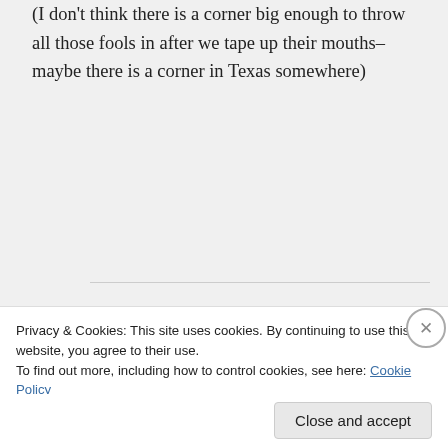(I don't think there is a corner big enough to throw all those fools in after we tape up their mouths–maybe there is a corner in Texas somewhere)
lilacluvr on October 27, 2009 at 11:36 am
I'm sure Gov Rick Perry would welcome all those fools. And then Texas can secede from the USA. I'd
Privacy & Cookies: This site uses cookies. By continuing to use this website, you agree to their use.
To find out more, including how to control cookies, see here: Cookie Policy